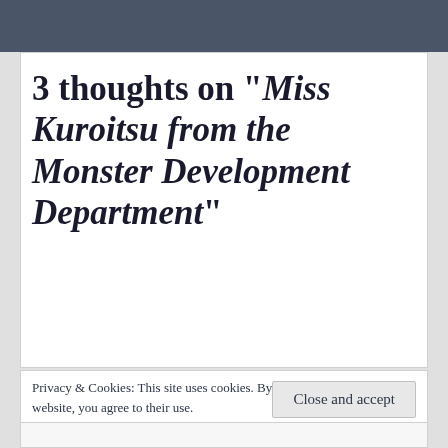3 thoughts on “Miss Kuroitsu from the Monster Development Department”
Privacy & Cookies: This site uses cookies. By continuing to use this website, you agree to their use.
To find out more, including how to control cookies, see here: Cookie Policy
Close and accept